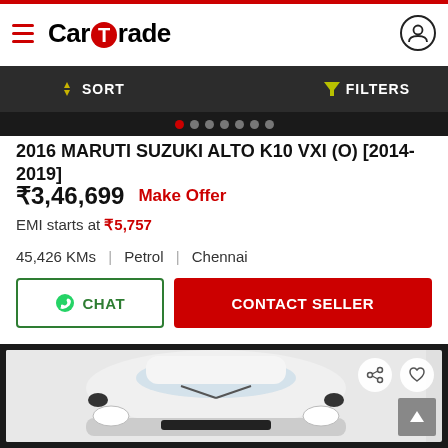CarTrade
2016 MARUTI SUZUKI ALTO K10 VXI (O) [2014-2019]
₹3,46,699  Make Offer
EMI starts at ₹5,757
45,426 KMs  |  Petrol  |  Chennai
[Figure (photo): Front view of a white Maruti Suzuki Alto K10 car on a light background]